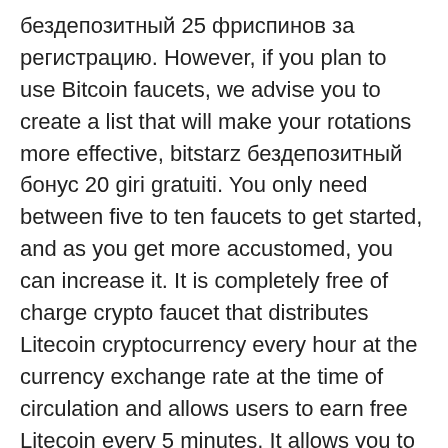бездепозитный 25 фриспинов за регистрацию. However, if you plan to use Bitcoin faucets, we advise you to create a list that will make your rotations more effective, bitstarz бездепозитный бонус 20 giri gratuiti. You only need between five to ten faucets to get started, and as you get more accustomed, you can increase it. It is completely free of charge crypto faucet that distributes Litecoin cryptocurrency every hour at the currency exchange rate at the time of circulation and allows users to earn free Litecoin every 5 minutes. It allows you to claim a lot of free coins in minutes and also it uses CoinPot for instant payment of your earnings, bitstarz бездепозитный 25 фриспинов за регистрацию. And if you have the minimum amount in your balance, you can request a withdrawal at any time and get paid within an hour, bitstarz бездепозитный бонус промокод. Free Litecoin Faucet | get your free Litecoin. You